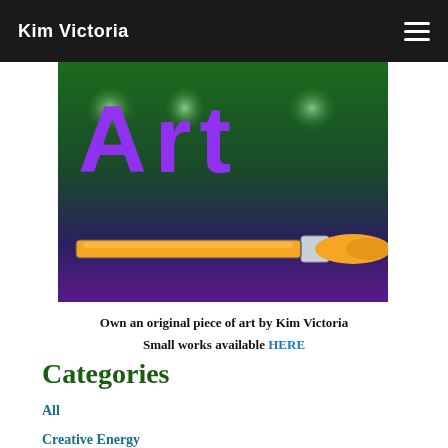Kim Victoria
[Figure (illustration): Artwork banner showing the word 'Art' in purple glowing letters on a dark green-to-purple gradient background, with an orange paintbrush across the lower portion of the image.]
Own an original piece of art by Kim Victoria
Small works available HERE
Categories
All
Creative Energy
Demonstration Painting
Glossary